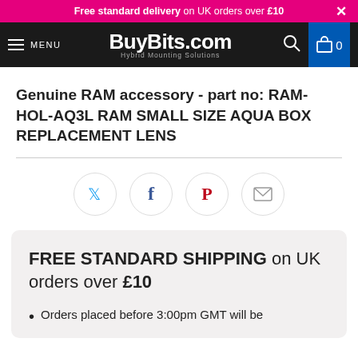Free standard delivery on UK orders over £10
[Figure (screenshot): BuyBits.com navigation bar with menu button, logo, search icon, and shopping cart]
Genuine RAM accessory - part no: RAM-HOL-AQ3L RAM SMALL SIZE AQUA BOX REPLACEMENT LENS
[Figure (infographic): Social sharing icons: Twitter, Facebook, Pinterest, Email]
FREE STANDARD SHIPPING on UK orders over £10
Orders placed before 3:00pm GMT will be